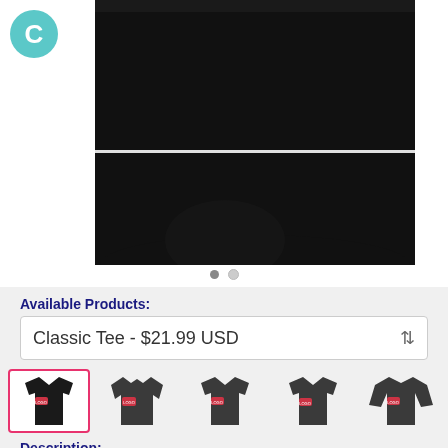[Figure (photo): Close-up photo of the bottom half of a black t-shirt on a white background, showing the shirt body and lower hem]
[Figure (other): Carousel navigation dots - one filled gray dot and one empty/lighter dot]
Available Products:
Classic Tee - $21.99 USD
[Figure (photo): Five product thumbnail images showing: 1) black classic tee (selected, pink border), 2) dark gray hoodie, 3) dark gray t-shirt, 4) dark gray t-shirt variant, 5) dark gray long sleeve shirt - all featuring a graphic design]
Description: